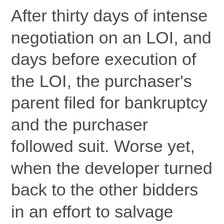After thirty days of intense negotiation on an LOI, and days before execution of the LOI, the purchaser's parent filed for bankruptcy and the purchaser followed suit. Worse yet, when the developer turned back to the other bidders in an effort to salvage value, he found that they knew of his predicament and were inflexible on terms and soft on their original price bids. Ultimately, the developer